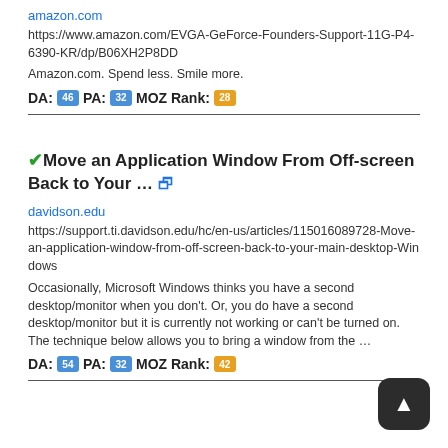amazon.com
https://www.amazon.com/EVGA-GeForce-Founders-Support-11G-P4-6390-KR/dp/B06XH2P8DD
Amazon.com. Spend less. Smile more.
DA: 46 PA: 32 MOZ Rank: 28
Move an Application Window From Off-screen Back to Your ...
davidson.edu
https://support.ti.davidson.edu/hc/en-us/articles/115016089728-Move-an-application-window-from-off-screen-back-to-your-main-desktop-Windows
Occasionally, Microsoft Windows thinks you have a second desktop/monitor when you don't. Or, you do have a second desktop/monitor but it is currently not working or can't be turned on. The technique below allows you to bring a window from the …
DA: 54 PA: 32 MOZ Rank: 42